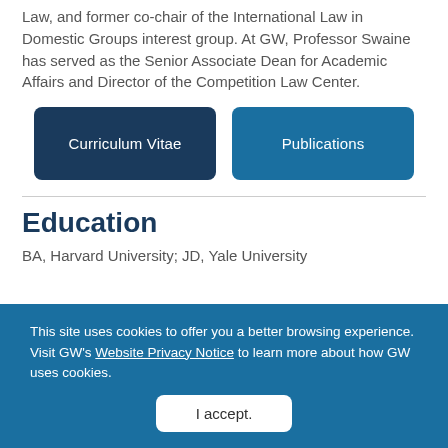Law, and former co-chair of the International Law in Domestic Groups interest group. At GW, Professor Swaine has served as the Senior Associate Dean for Academic Affairs and Director of the Competition Law Center.
Curriculum Vitae
Publications
Education
BA, Harvard University; JD, Yale University
This site uses cookies to offer you a better browsing experience. Visit GW's Website Privacy Notice to learn more about how GW uses cookies.
I accept.